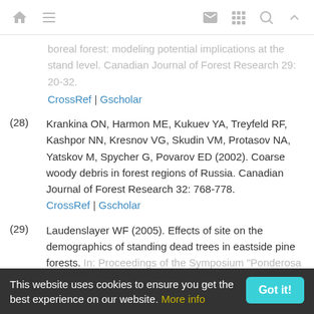[navigation icons: home, menu, mail, grid, search, up]
boreal forest: modeling potential implications at the stand level. Canadian Journal of Forest Research 29: 20-32.
CrossRef | Gscholar
(28) Krankina ON, Harmon ME, Kukuev YA, Treyfeld RF, Kashpor NN, Kresnov VG, Skudin VM, Protasov NA, Yatskov M, Spycher G, Povarov ED (2002). Coarse woody debris in forest regions of Russia. Canadian Journal of Forest Research 32: 768-778. CrossRef | Gscholar
(29) Laudenslayer WF (2005). Effects of site on the demographics of standing dead trees in eastside pine forests. In: Proceedings of the Symposium "Ponderosa
This website uses cookies to ensure you get the best experience on our website. More info